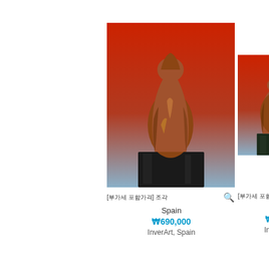[Figure (photo): Bronze sculpture of a human torso/nude figure on a dark marble base, photographed against a red-to-blue gradient background]
[부가세 포함가격] 조각
Spain
₩690,000
InverArt, Spain
[Figure (photo): Bronze sculpture of a human torso/nude figure on a dark marble base, partially cropped, photographed against a red-to-blue gradient background]
[부가세 포함가격] 조각
Spa...
₩690...
InverArt...